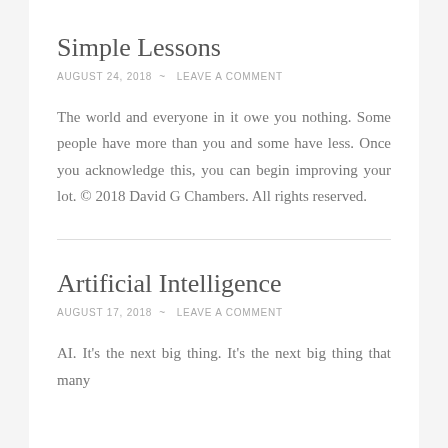Simple Lessons
AUGUST 24, 2018  ~  LEAVE A COMMENT
The world and everyone in it owe you nothing. Some people have more than you and some have less. Once you acknowledge this, you can begin improving your lot. © 2018 David G Chambers. All rights reserved.
Artificial Intelligence
AUGUST 17, 2018  ~  LEAVE A COMMENT
AI. It's the next big thing. It's the next big thing that many